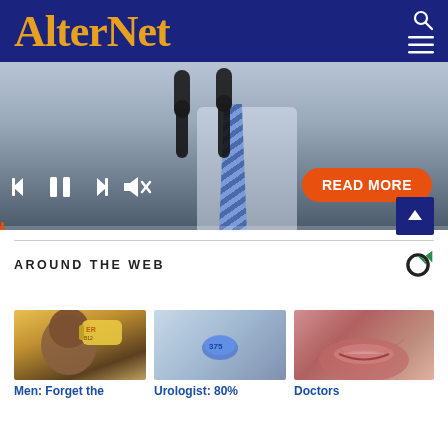AlterNet
[Figure (screenshot): Video player showing a man in a white shirt and striped tie at a podium with microphones, with media controls (skip back, pause, skip forward, mute) and a red READ MORE button overlay]
AROUND THE WEB
[Figure (logo): Taboola logo (circular C with green accent)]
[Figure (photo): Man drinking from a bottle]
Men: Forget the
[Figure (photo): Blue pill on white background]
Urologist: 80%
[Figure (photo): Close-up of wrinkled lips]
Doctors